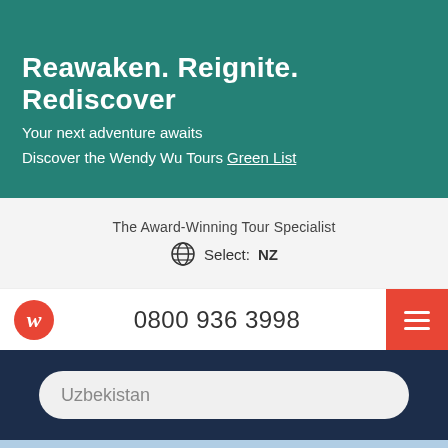Reawaken. Reignite. Rediscover
Your next adventure awaits
Discover the Wendy Wu Tours Green List
The Award-Winning Tour Specialist
Select: NZ
0800 936 3998
Uzbekistan
[Figure (logo): Wendy Wu Tours red circular logo with stylized W]